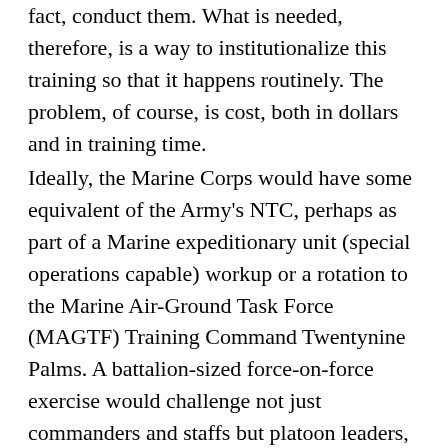fact, conduct them. What is needed, therefore, is a way to institutionalize this training so that it happens routinely. The problem, of course, is cost, both in dollars and in training time.
Ideally, the Marine Corps would have some equivalent of the Army's NTC, perhaps as part of a Marine expeditionary unit (special operations capable) workup or a rotation to the Marine Air-Ground Task Force (MAGTF) Training Command Twentynine Palms. A battalion-sized force-on-force exercise would challenge not just commanders and staffs but platoon leaders, squad leaders, and individual Marines as well. With its purchase of MILES 2000 the Marine Corps owns the basic equipment. To be sure, this would constitute a substantial commitment of resources. Perhaps as an experiment the Marine Corps might conduct one such